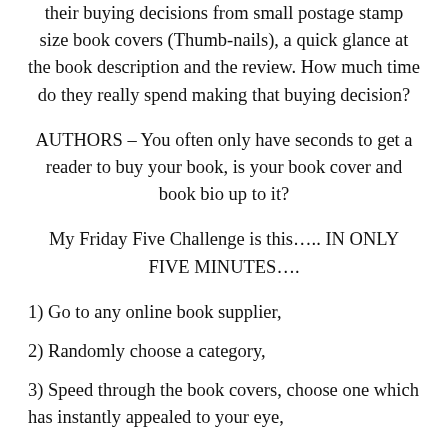their buying decisions from small postage stamp size book covers (Thumb-nails), a quick glance at the book description and the review. How much time do they really spend making that buying decision?
AUTHORS – You often only have seconds to get a reader to buy your book, is your book cover and book bio up to it?
My Friday Five Challenge is this….. IN ONLY FIVE MINUTES….
1) Go to any online book supplier,
2) Randomly choose a category,
3) Speed through the book covers, choose one which has instantly appealed to your eye,